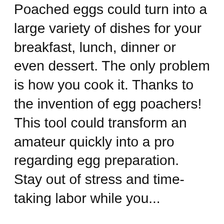Poached eggs could turn into a large variety of dishes for your breakfast, lunch, dinner or even dessert. The only problem is how you cook it. Thanks to the invention of egg poachers! This tool could transform an amateur quickly into a pro regarding egg preparation. Stay out of stress and time-taking labor while you...
07.09.2015 · See All Buying Options Share. Have one to sell? Sell on Amazon Joseph Joseph M-Cuisine Microwave Egg Poacher - Stone/Orange, Orange 3.9 out of 5 stars 53. heat-resistant silicone with an integrated measuring guide. Make up to 2 x 30g single portions. While some people are content with